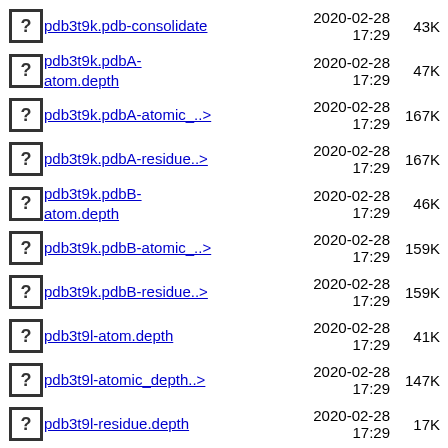pdb3t9k.pdb-consolidate  2020-02-28 17:29  43K
pdb3t9k.pdbA-atom.depth  2020-02-28 17:29  47K
pdb3t9k.pdbA-atomic_..>  2020-02-28 17:29  167K
pdb3t9k.pdbA-residue..>  2020-02-28 17:29  167K
pdb3t9k.pdbB-atom.depth  2020-02-28 17:29  46K
pdb3t9k.pdbB-atomic_..>  2020-02-28 17:29  159K
pdb3t9k.pdbB-residue..>  2020-02-28 17:29  159K
pdb3t9l-atom.depth  2020-02-28 17:29  41K
pdb3t9l-atomic_depth..>  2020-02-28 17:29  147K
pdb3t9l-residue.depth  2020-02-28 17:29  17K
pdb3t9l-residue_dept..>  2020-02-28 17:29  147K
... (next item)  2020-02-28